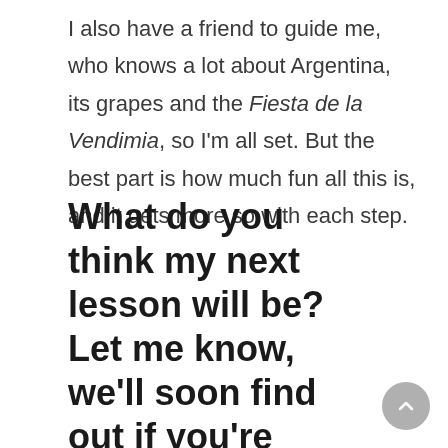I also have a friend to guide me, who knows a lot about Argentina, its grapes and the Fiesta de la Vendimia, so I'm all set. But the best part is how much fun all this is, and it gets more so with each step.
What do you think my next lesson will be? Let me know, we'll soon find out if you're right! Want to learn more about Argentine wine? Try this article: Argentine wines for the